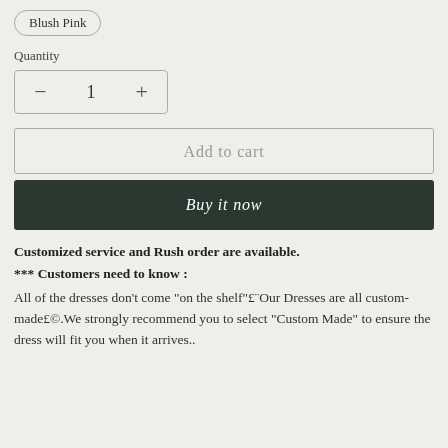Blush Pink
Quantity
− 1 +
Add to cart
Buy it now
Customized service and Rush order are available.
*** Customers need to know :
All of the dresses don't come "on the shelf"£¨Our Dresses are all custom-made£©.We strongly recommend you to select "Custom Made" to ensure the dress will fit you when it arrives..